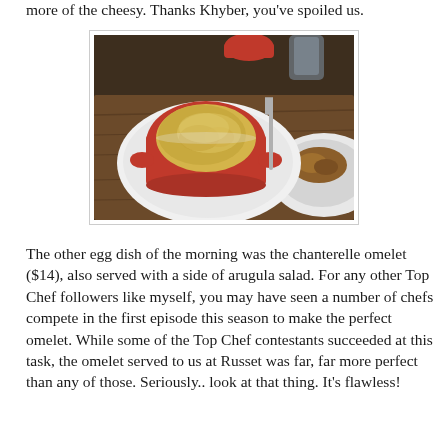more of the  cheesy.   Thanks Khyber, you've spoiled us.
[Figure (photo): A red ceramic ramekin filled with a cheesy egg dish, sitting on a white plate atop a wooden board. A fork and other dining elements are visible in the background.]
The other egg dish of the morning was the chanterelle omelet ($14), also served with a side of arugula salad.  For any other Top Chef followers like myself, you may have seen a number of chefs compete in the first episode this season to make the perfect omelet.   While some of the Top Chef contestants succeeded at this task, the omelet served to us at Russet was far, far more perfect than any of those.  Seriously.. look at that thing. It's flawless!